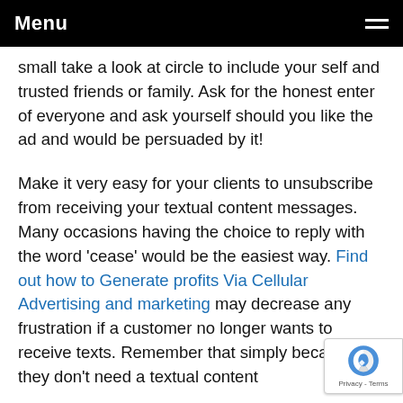Menu
small take a look at circle to include your self and trusted friends or family. Ask for the honest enter of everyone and ask yourself should you like the ad and would be persuaded by it!
Make it very easy for your clients to unsubscribe from receiving your textual content messages. Many occasions having the choice to reply with the word 'cease' would be the easiest way. Find out how to Generate profits Via Cellular Advertising and marketing may decrease any frustration if a customer no longer wants to receive texts. Remember that simply because they don't need a textual content